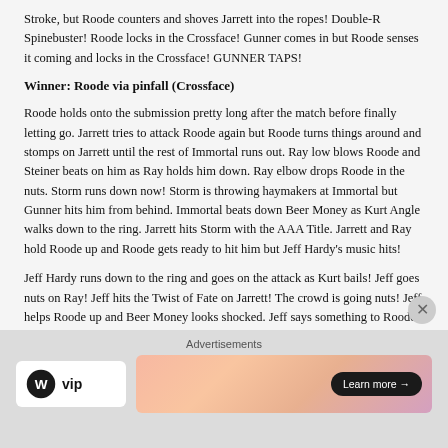Stroke, but Roode counters and shoves Jarrett into the ropes! Double-R Spinebuster! Roode locks in the Crossface! Gunner comes in but Roode senses it coming and locks in the Crossface! GUNNER TAPS!
Winner: Roode via pinfall (Crossface)
Roode holds onto the submission pretty long after the match before finally letting go. Jarrett tries to attack Roode again but Roode turns things around and stomps on Jarrett until the rest of Immortal runs out. Ray low blows Roode and Steiner beats on him as Ray holds him down. Ray elbow drops Roode in the nuts. Storm runs down now! Storm is throwing haymakers at Immortal but Gunner hits him from behind. Immortal beats down Beer Money as Kurt Angle walks down to the ring. Jarrett hits Storm with the AAA Title. Jarrett and Ray hold Roode up and Roode gets ready to hit him but Jeff Hardy's music hits!
Jeff Hardy runs down to the ring and goes on the attack as Kurt bails! Jeff goes nuts on Ray! Jeff hits the Twist of Fate on Jarrett! The crowd is going nuts! Jeff helps Roode up and Beer Money looks shocked. Jeff says something to Roode and offers him a handshake on the face…
[Figure (infographic): Advertisement overlay with WordPress VIP logo and a gradient banner ad with a 'Learn more' button. Also shows a close (X) button.]